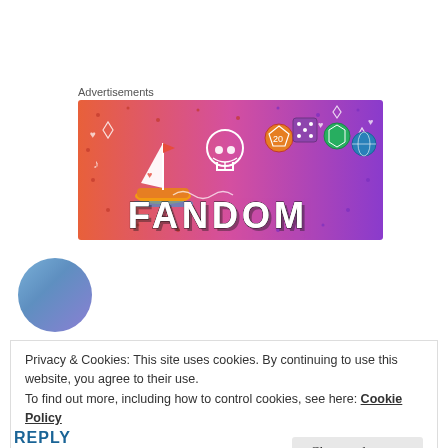Advertisements
[Figure (logo): Fandom banner advertisement with colorful gradient background (orange to purple), featuring the FANDOM logo in large bold letters, a sailboat illustration, skull, and decorative dice icons]
SHORT-PROSE-FICTION
Jul 14, 2020 at 5:15 am
Privacy & Cookies: This site uses cookies. By continuing to use this website, you agree to their use.
To find out more, including how to control cookies, see here: Cookie Policy
Close and accept
REPLY